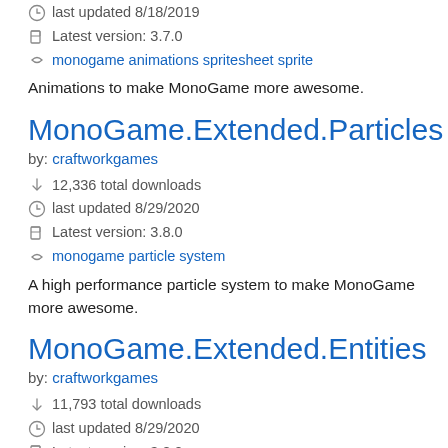last updated 8/18/2019
Latest version: 3.7.0
monogame animations spritesheet sprite
Animations to make MonoGame more awesome.
MonoGame.Extended.Particles
by: craftworkgames
12,336 total downloads
last updated 8/29/2020
Latest version: 3.8.0
monogame particle system
A high performance particle system to make MonoGame more awesome.
MonoGame.Extended.Entities
by: craftworkgames
11,793 total downloads
last updated 8/29/2020
Latest version: 3.8.0